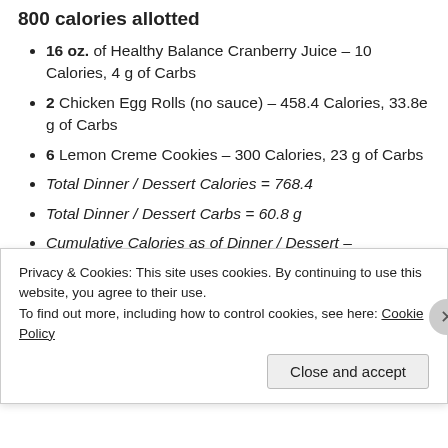800 calories allotted
16 oz. of Healthy Balance Cranberry Juice – 10 Calories, 4 g of Carbs
2 Chicken Egg Rolls (no sauce) – 458.4 Calories, 33.8e g of Carbs
6 Lemon Creme Cookies – 300 Calories, 23 g of Carbs
Total Dinner / Dessert Calories = 768.4
Total Dinner / Dessert Carbs = 60.8 g
Cumulative Calories as of Dinner / Dessert –
Privacy & Cookies: This site uses cookies. By continuing to use this website, you agree to their use.
To find out more, including how to control cookies, see here: Cookie Policy
Close and accept